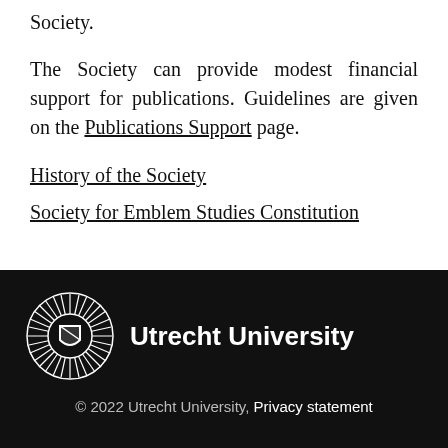Society.
The Society can provide modest financial support for publications. Guidelines are given on the Publications Support page.
History of the Society
Society for Emblem Studies Constitution
[Figure (logo): Utrecht University logo: circular seal with radiating lines and shield, white on black background, next to bold white text 'Utrecht University']
© 2022 Utrecht University, Privacy statement